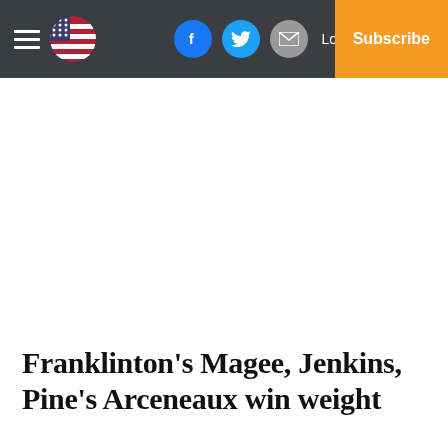☰ [flag] [Facebook] [Twitter] [Email] Log In | Subscribe
Franklinton's Magee, Jenkins, Pine's Arceneaux win weight